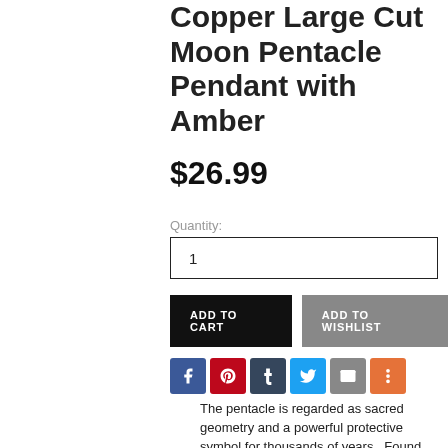Copper Large Cut Moon Pentacle Pendant with Amber
$26.99
Quantity:
1
ADD TO CART
ADD TO WISHLIST
[Figure (infographic): Social sharing icons: Facebook, Pinterest, Tumblr, Twitter, Email, More]
The pentacle is regarded as sacred geometry and a powerful protective symbol for thousands of years.  Found within the design of Nature, from the five-petaled apple blossom to the seed configuration